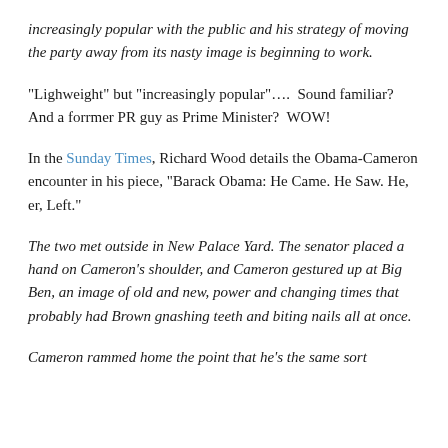increasingly popular with the public and his strategy of moving the party away from its nasty image is beginning to work.
“Lighweight” but “increasingly popular”…. Sound familiar? And a forrmer PR guy as Prime Minister? WOW!
In the Sunday Times, Richard Wood details the Obama-Cameron encounter in his piece, “Barack Obama: He Came. He Saw. He, er, Left.”
The two met outside in New Palace Yard. The senator placed a hand on Cameron’s shoulder, and Cameron gestured up at Big Ben, an image of old and new, power and changing times that probably had Brown gnashing teeth and biting nails all at once.
Cameron rammed home the point that he’s the same sort